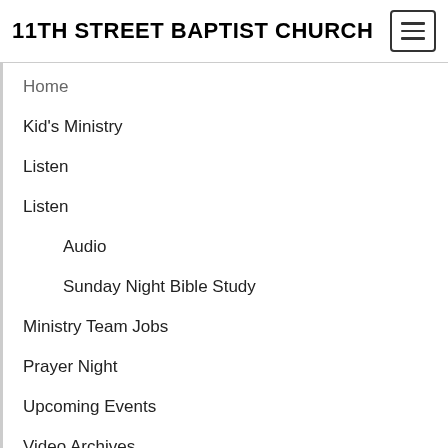11TH STREET BAPTIST CHURCH
Home
Kid's Ministry
Listen
Listen
Audio
Sunday Night Bible Study
Ministry Team Jobs
Prayer Night
Upcoming Events
Video Archives
Weekly Service
Categories